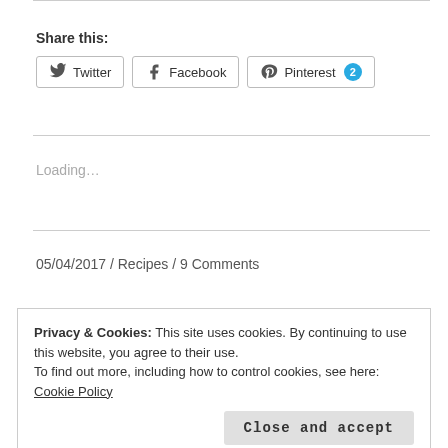Share this:
Twitter  Facebook  Pinterest 2
Loading…
05/04/2017  /  Recipes  /  9 Comments
Privacy & Cookies: This site uses cookies. By continuing to use this website, you agree to their use.
To find out more, including how to control cookies, see here: Cookie Policy
Close and accept